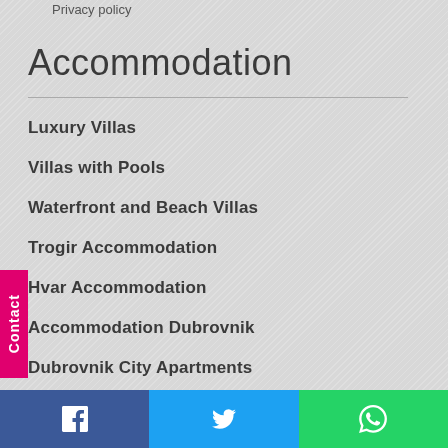Privacy policy
Accommodation
Luxury Villas
Villas with Pools
Waterfront and Beach Villas
Trogir Accommodation
Hvar Accommodation
Accommodation Dubrovnik
Dubrovnik City Apartments
Accommodation Split
Contact | Facebook | Twitter | WhatsApp